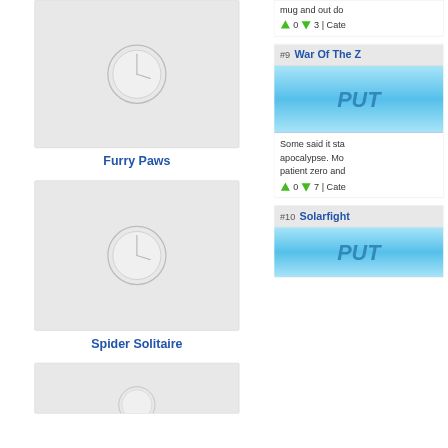[Figure (screenshot): Thumbnail placeholder image with clock icon for Furry Paws game]
Furry Paws
[Figure (screenshot): Thumbnail placeholder image with clock icon for Spider Solitaire game]
Spider Solitaire
[Figure (screenshot): Thumbnail placeholder image with clock icon for a third game]
mug and out do
0 ↓ 3 | Cate
#9 War Of The Z
[Figure (screenshot): Blue gradient banner image with PUT text]
Some said it sta apocalypse. Mo patient zero and
0 ↓ 7 | Cate
#10 Solarfight
[Figure (screenshot): Blue gradient banner image with PUT text]